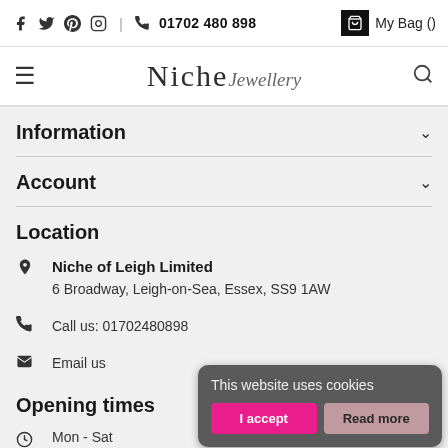Facebook Twitter Pinterest Instagram | Phone 01702 480 898 | My Bag ()
Niche Jewellery
Information
Account
Location
Niche of Leigh Limited
6 Broadway, Leigh-on-Sea, Essex, SS9 1AW
Call us: 01702480898
Email us
Opening times
Mon - Sat
10:00 to 17:00
This website uses cookies